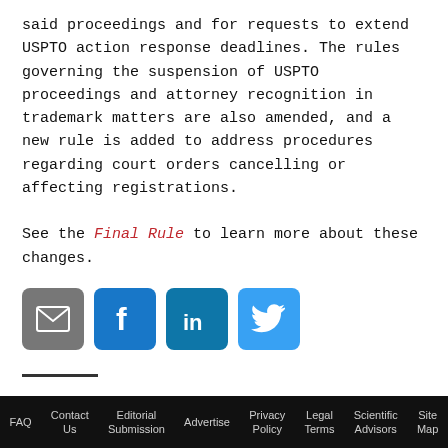said proceedings and for requests to extend USPTO action response deadlines. The rules governing the suspension of USPTO proceedings and attorney recognition in trademark matters are also amended, and a new rule is added to address procedures regarding court orders cancelling or affecting registrations.
See the Final Rule to learn more about these changes.
[Figure (other): Social sharing icons: email (gray), Facebook (blue), LinkedIn (teal-blue), Twitter (light blue)]
Interesting Stories
FAQ   Contact Us   Editorial Submission   Advertise   Privacy Policy   Legal Terms   Scientific Advisors   Site Map